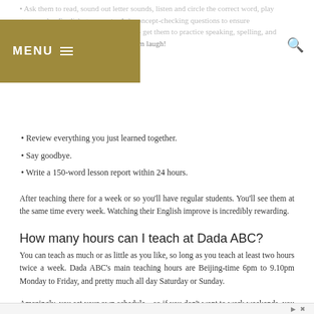• Ask them to read, sound out letter sounds, listen and circle the correct word, play games, play English games, etc. Ask concept-checking questions to ensure understanding. Elicit more than teach – get them to practice speaking, spelling, and reading as much as possible. Make them laugh!
• Review everything you just learned together.
• Say goodbye.
• Write a 150-word lesson report within 24 hours.
After teaching there for a week or so you'll have regular students. You'll see them at the same time every week. Watching their English improve is incredibly rewarding.
How many hours can I teach at Dada ABC?
You can teach as much or as little as you like, so long as you teach at least two hours twice a week. Dada ABC's main teaching hours are Beijing-time 6pm to 9.10pm Monday to Friday, and pretty much all day Saturday or Sunday.
Amazingly, you set your own schedule – so if you don't want to work weekends, you don't have to! Most Dada ABC teachers set their contract hours at three hours a day, Monday to Friday. It's a cinch to apply for temporary part-time hours if you need a little extra cash that month, too.